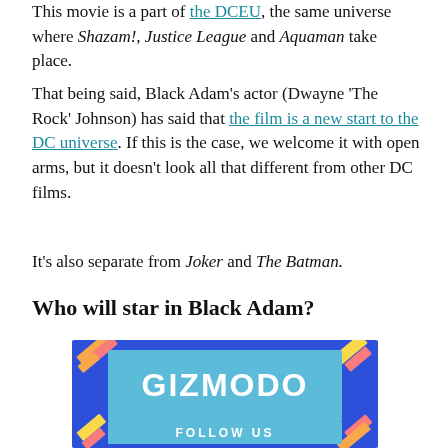This movie is a part of the DCEU, the same universe where Shazam!, Justice League and Aquaman take place.
That being said, Black Adam's actor (Dwayne 'The Rock' Johnson) has said that the film is a new start to the DC universe. If this is the case, we welcome it with open arms, but it doesn't look all that different from other DC films.
It's also separate from Joker and The Batman.
Who will star in Black Adam?
[Figure (logo): Gizmodo promotional/follow us banner ad with colorful geometric decoration, blue background, GIZMODO text in white, and FOLLOW US text below]